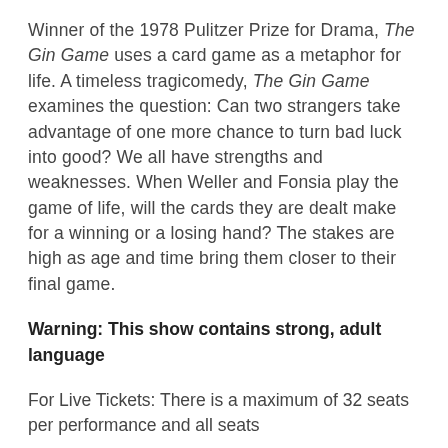Winner of the 1978 Pulitzer Prize for Drama, The Gin Game uses a card game as a metaphor for life. A timeless tragicomedy, The Gin Game examines the question: Can two strangers take advantage of one more chance to turn bad luck into good? We all have strengths and weaknesses. When Weller and Fonsia play the game of life, will the cards they are dealt make for a winning or a losing hand? The stakes are high as age and time bring them closer to their final game.
Warning: This show contains strong, adult language
For Live Tickets: There is a maximum of 32 seats per performance and all seats